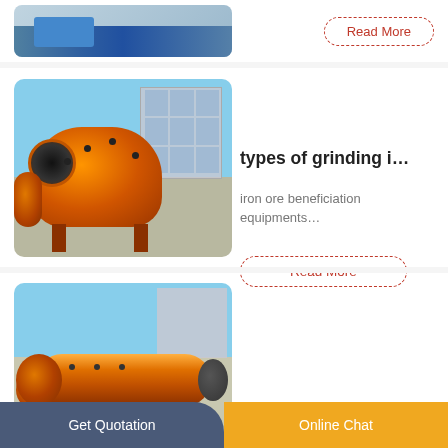[Figure (photo): Partial view of industrial grinding equipment at top of page (cropped)]
Read More
[Figure (photo): Orange ball mill grinding machine outdoors at industrial facility]
types of grinding i…
iron ore beneficiation equipments…
Read More
[Figure (photo): Orange horizontal grinding mill machine at industrial facility]
Project Report On…
Project Report Of Stone Grinding Mill In India B…
Read More
Get Quotation   Online Chat